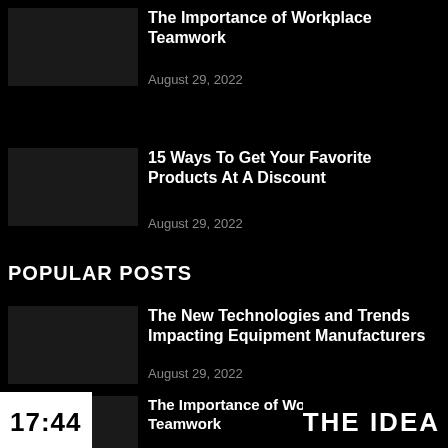The Importance of Workplace Teamwork
August 29, 2022
15 Ways To Get Your Favorite Products At A Discount
August 29, 2022
POPULAR POSTS
The New Technologies and Trends Impacting Equipment Manufacturers
August 29, 2022
The Importance of Workplace Teamwork
17:44   THE IDEA